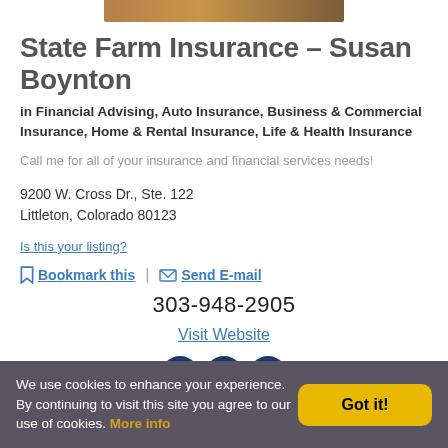[Figure (photo): Partial image at top of page, appears to be a person or background photo cropped]
State Farm Insurance – Susan Boynton
in Financial Advising, Auto Insurance, Business & Commercial Insurance, Home & Rental Insurance, Life & Health Insurance
Call me for all of your insurance and financial services needs!
9200 W. Cross Dr., Ste. 122
Littleton, Colorado 80123
Is this your listing?
Bookmark this  |  Send E-mail
303-948-2905
Visit Website
[Figure (illustration): Three dark blue social media icons (Facebook, Twitter, Google+)]
We use cookies to enhance your experience. By continuing to visit this site you agree to our use of cookies. More info